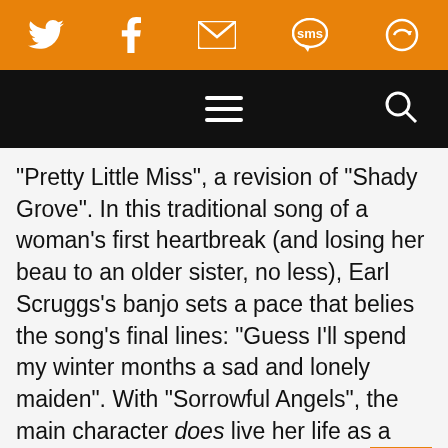[Figure (screenshot): Orange top navigation bar with social media icons: Twitter, Facebook, email/envelope, SMS speech bubble, and a circular arrow icon, all white on orange background]
[Figure (screenshot): Black navigation bar with hamburger menu (three horizontal lines) centered and a search/magnifying glass icon on the right]
“Pretty Little Miss”, a revision of “Shady Grove”. In this traditional song of a woman’s first heartbreak (and losing her beau to an older sister, no less), Earl Scruggs’s banjo sets a pace that belies the song’s final lines: “Guess I’ll spend my winter months a sad and lonely maiden”. With “Sorrowful Angels”, the main character does live her life as a sad and lonely maiden in a story so tragic that the angels weep for her.
A highlight is Loveless’s revision of “Man of